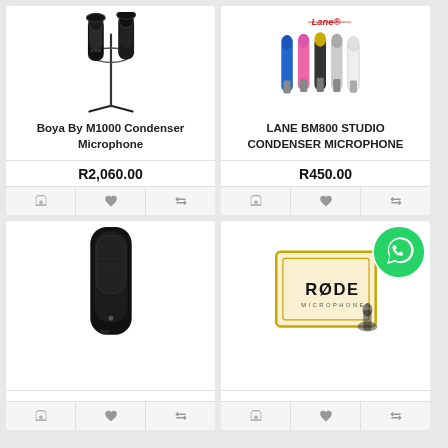[Figure (photo): Boya By M1000 Condenser Microphone product photo showing dual microphones on a stand with pop filters]
Boya By M1000 Condenser Microphone
R2,060.00
[Figure (photo): Lane BM800 Studio Condenser Microphone product photo showing 5 colorful microphones in a row with Lane logo]
LANE BM800 STUDIO CONDENSER MICROPHONE
R450.00
[Figure (photo): Black condenser microphone product photo, bottom half of card visible]
[Figure (photo): Rode microphone product with WhatsApp chat bubble icon overlay]